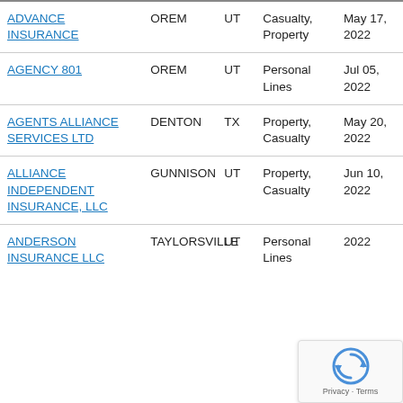| Name | City | State | Lines | Date |
| --- | --- | --- | --- | --- |
| ADVANCE INSURANCE | OREM | UT | Casualty, Property | May 17, 2022 |
| AGENCY 801 | OREM | UT | Personal Lines | Jul 05, 2022 |
| AGENTS ALLIANCE SERVICES LTD | DENTON | TX | Property, Casualty | May 20, 2022 |
| ALLIANCE INDEPENDENT INSURANCE, LLC | GUNNISON | UT | Property, Casualty | Jun 10, 2022 |
| ANDERSON INSURANCE LLC | TAYLORSVILLE | UT | Personal Lines | 2022 |